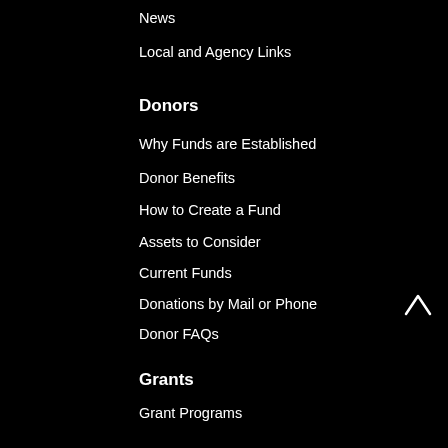News
Local and Agency Links
Donors
Why Funds are Established
Donor Benefits
How to Create a Fund
Assets to Consider
Current Funds
Donations by Mail or Phone
Donor FAQs
Grants
Grant Programs
Grant Policies
Grant Forms
WFACF Grant Cycle Application
Volunteer Fire Department Grant
Grant FAQs
Scholarships